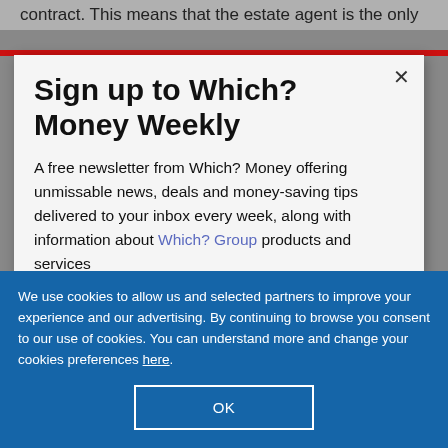contract. This means that the estate agent is the only
Sign up to Which? Money Weekly
A free newsletter from Which? Money offering unmissable news, deals and money-saving tips delivered to your inbox every week, along with information about Which? Group products and services
We use cookies to allow us and selected partners to improve your experience and our advertising. By continuing to browse you consent to our use of cookies. You can understand more and change your cookies preferences here.
OK